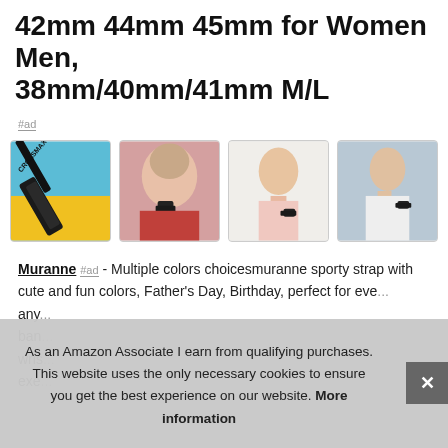42mm 44mm 45mm for Women Men, 38mm/40mm/41mm M/L
#ad
[Figure (photo): Four product photos showing watch bands on Apple Watches worn by women and a product flatlay]
Muranne #ad - Multiple colors choicesmuranne sporty strap with cute and fun colors, Father's Day, Birthday, perfect for eve... any... ban... wris... exe...
As an Amazon Associate I earn from qualifying purchases. This website uses the only necessary cookies to ensure you get the best experience on our website. More information